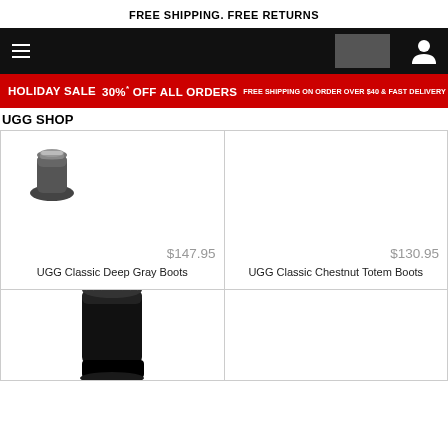FREE SHIPPING. FREE RETURNS
[Figure (screenshot): Navigation bar with hamburger menu icon on left, search box in center-right, and user account icon on right, all on black background]
[Figure (infographic): Holiday sale banner: HOLIDAY SALE 30% OFF ALL ORDERS FREE SHIPPING ON ORDER OVER $40 & FAST DELIVERY FOR ALL ORDERS on red background]
UGG SHOP
[Figure (photo): UGG Classic Deep Gray Boots product thumbnail showing top of dark gray boot]
$147.95
UGG Classic Deep Gray Boots
$130.95
UGG Classic Chestnut Totem Boots
[Figure (photo): UGG boots product thumbnail, black tall boots, partially visible in bottom row left cell]